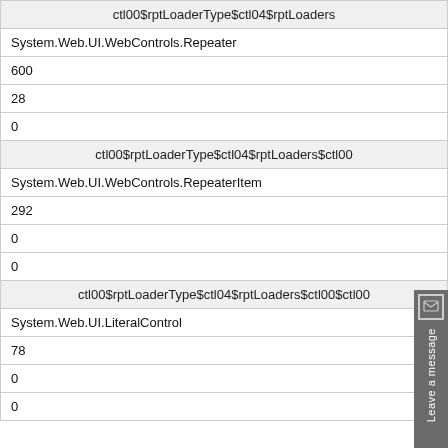| ctl00$rptLoaderType$ctl04$rptLoaders |
| System.Web.UI.WebControls.Repeater |
| 600 |
| 28 |
| 0 |
| ctl00$rptLoaderType$ctl04$rptLoaders$ctl00 |
| System.Web.UI.WebControls.RepeaterItem |
| 292 |
| 0 |
| 0 |
| ctl00$rptLoaderType$ctl04$rptLoaders$ctl00$ctl00 |
| System.Web.UI.LiteralControl |
| 78 |
| 0 |
| 0 |